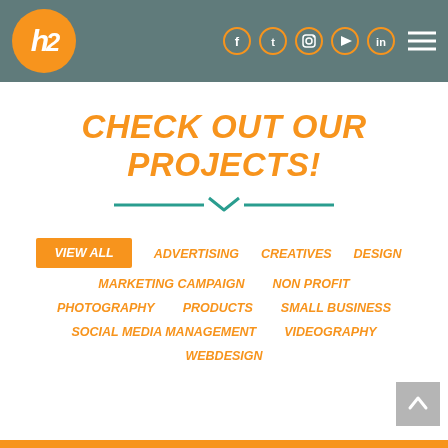[Figure (logo): h2 logo: orange circle with white stylized 'h2' text]
[Figure (infographic): Social media icons: Facebook, Twitter, Instagram, YouTube, LinkedIn in orange-outlined circles; hamburger menu icon]
CHECK OUT OUR PROJECTS!
[Figure (illustration): Teal horizontal divider lines with downward chevron in center]
VIEW ALL
ADVERTISING
CREATIVES
DESIGN
MARKETING CAMPAIGN
NON PROFIT
PHOTOGRAPHY
PRODUCTS
SMALL BUSINESS
SOCIAL MEDIA MANAGEMENT
VIDEOGRAPHY
WEBDESIGN